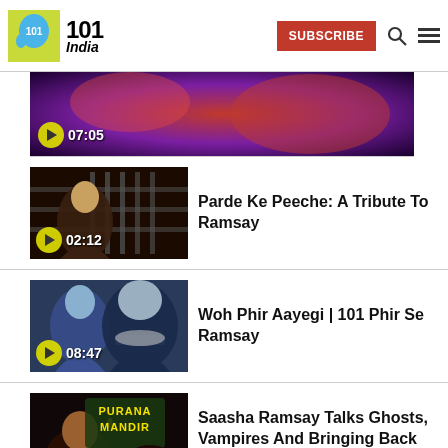101 India — SUBSCRIBE
[Figure (screenshot): Partial video thumbnail at top, red/purple abstract, duration 07:05]
[Figure (screenshot): Video thumbnail: dark horror scene, woman behind grid, duration 02:12]
Parde Ke Peeche: A Tribute To Ramsay
[Figure (screenshot): Video thumbnail: blue-tinted horror faces, man and monster, duration 08:47]
Woh Phir Aayegi | 101 Phir Se Ramsay
[Figure (screenshot): Video thumbnail: Purana Mandir horror movie poster style, article icon]
Saasha Ramsay Talks Ghosts, Vampires And Bringing Back The Dead